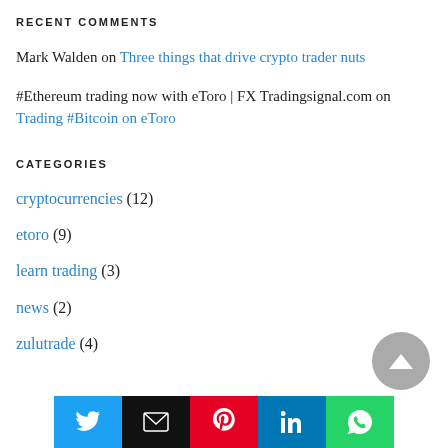RECENT COMMENTS
Mark Walden on Three things that drive crypto trader nuts
#Ethereum trading now with eToro | FX Tradingsignal.com on Trading #Bitcoin on eToro
CATEGORIES
cryptocurrencies (12)
etoro (9)
learn trading (3)
news (2)
zulutrade (4)
[Figure (infographic): Social share bar with Twitter, Email, Pinterest, LinkedIn, WhatsApp buttons]